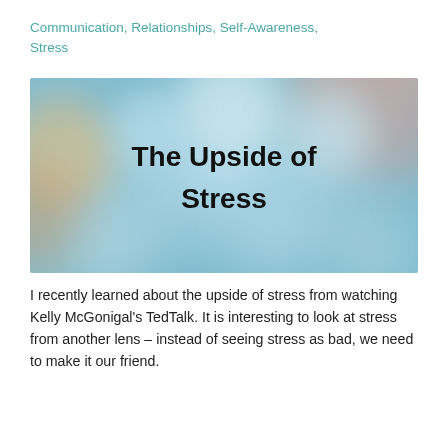Communication, Relationships, Self-Awareness, Stress
[Figure (illustration): Bokeh background image with blurred colorful circles (blue, orange, pink tones) and bold black text reading 'The Upside of Stress' centered in the image.]
I recently learned about the upside of stress from watching Kelly McGonigal's TedTalk. It is interesting to look at stress from another lens – instead of seeing stress as bad, we need to make it our friend.